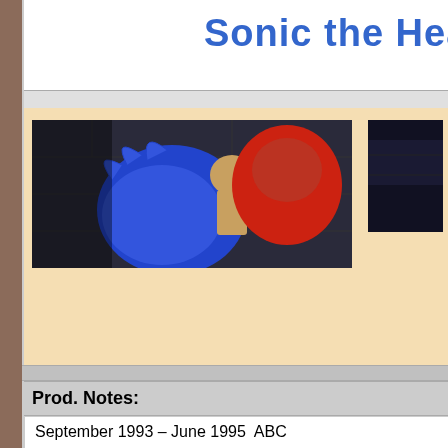Sonic the Hea[dgehog]
[Figure (screenshot): Animation still from Sonic the Hedgehog cartoon showing blue hedgehog character and red-cloaked figure against a dark stone background]
[Figure (screenshot): Partial animation still from the cartoon, dark background scene (right column)]
Prod. Notes:
September 1993 – June 1995  ABC